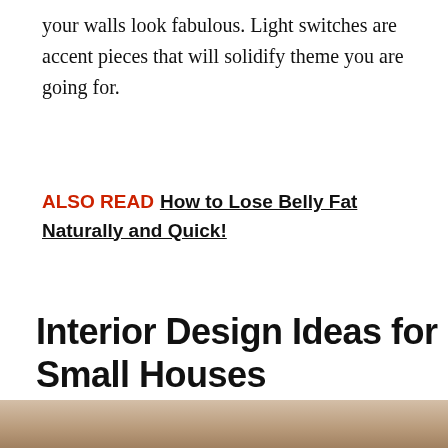your walls look fabulous. Light switches are accent pieces that will solidify theme you are going for.
ALSO READ  How to Lose Belly Fat Naturally and Quick!
Interior Design Ideas for Small Houses
Get a mirror
[Figure (photo): Partial view of an interior room, bottom strip visible]